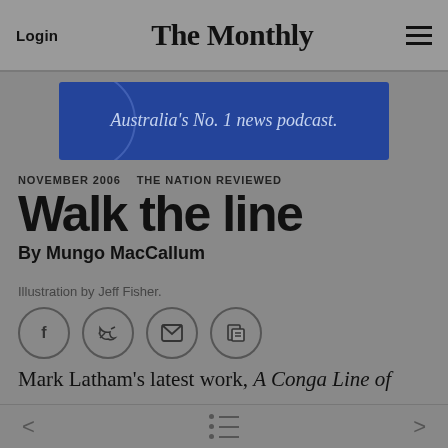Login   The Monthly   ☰
[Figure (other): Blue advertisement banner reading "Australia's No. 1 news podcast."]
NOVEMBER 2006   THE NATION REVIEWED
Walk the line
By Mungo MacCallum
Illustration by Jeff Fisher.
[Figure (other): Social sharing icons: Facebook, Twitter, Email, Copy link — each in a circle]
Mark Latham's latest work, A Conga Line of
< [menu] >